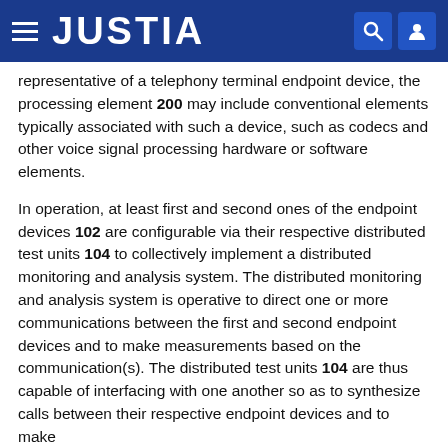JUSTIA
representative of a telephony terminal endpoint device, the processing element 200 may include conventional elements typically associated with such a device, such as codecs and other voice signal processing hardware or software elements.
In operation, at least first and second ones of the endpoint devices 102 are configurable via their respective distributed test units 104 to collectively implement a distributed monitoring and analysis system. The distributed monitoring and analysis system is operative to direct one or more communications between the first and second endpoint devices and to make measurements based on the communication(s). The distributed test units 104 are thus capable of interfacing with one another so as to synthesize calls between their respective endpoint devices and to make